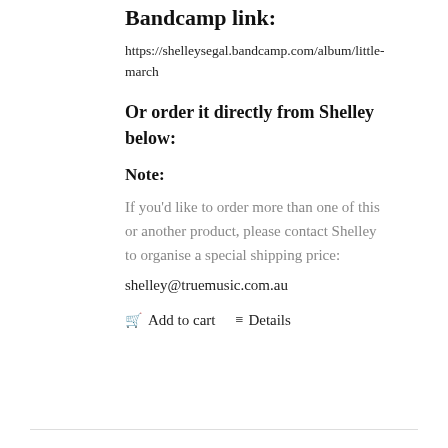Bandcamp link:
https://shelleysegal.bandcamp.com/album/little-march
Or order it directly from Shelley below:
Note:
If you'd like to order more than one of this or another product, please contact Shelley to organise a special shipping price:
shelley@truemusic.com.au
Add to cart   Details